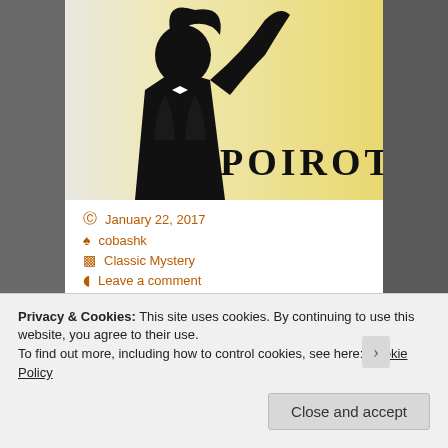[Figure (logo): Poirot TV series logo: black silhouette of a man in tuxedo on pale yellow gradient background with the word POIROT in bold Art Deco lettering]
January 22, 2017
cobashk
Classic Mystery
Leave a comment
Film Review: “Cards on
Privacy & Cookies: This site uses cookies. By continuing to use this website, you agree to their use.
To find out more, including how to control cookies, see here: Cookie Policy